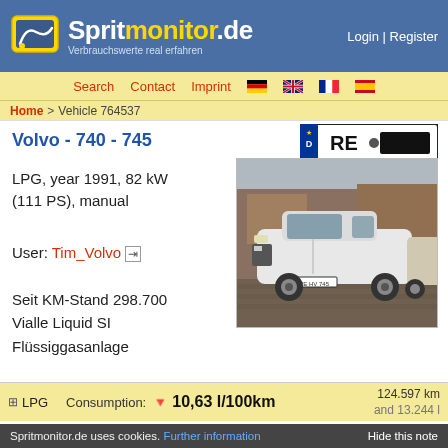Spritmonitor.de — Verbrauchswerte real erfahren | Login | Register
Search  Contact  Imprint
Home > Vehicle 764537
Volvo - 740 - 745
[Figure (photo): License plate showing RE with blurred number]
LPG, year 1991, 82 kW (111 PS), manual
[Figure (photo): Photo of a white Volvo 740/745 car parked in a lot]
User: Tim_Volvo
Seit KM-Stand 298.700 Vialle Liquid SI Flüssiggasanlage
⊞ LPG    Consumption: 🔻 10,63 l/100km    124.597 km and 13.244 l
Spritmonitor.de uses cookies. Further information  Hide this note